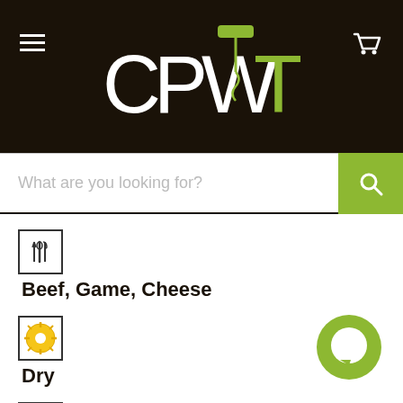[Figure (logo): CPWT logo with wine corkscrew on dark background]
[Figure (screenshot): Search bar with 'What are you looking for?' placeholder and green search button]
Beef, Game, Cheese
Dry
Medium Bodied
Deep Purple
[Figure (illustration): Green circular chat bubble icon in bottom right]